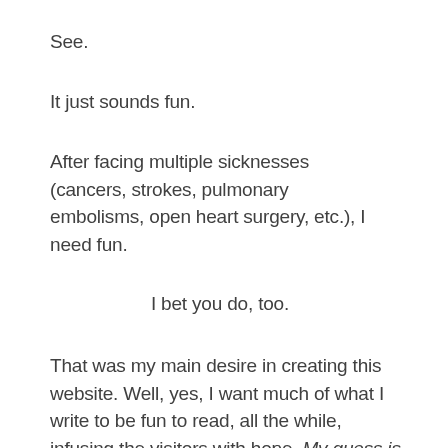See.
It just sounds fun.
After facing multiple sicknesses (cancers, strokes, pulmonary embolisms, open heart surgery, etc.), I need fun.
I bet you do, too.
That was my main desire in creating this website. Well, yes, I want much of what I write to be fun to read, all the while, infusing the visitors with hope. My guess is that if you've found me, you (or a loved one) is facing unsettling news. If that's the case, then I'm so very...